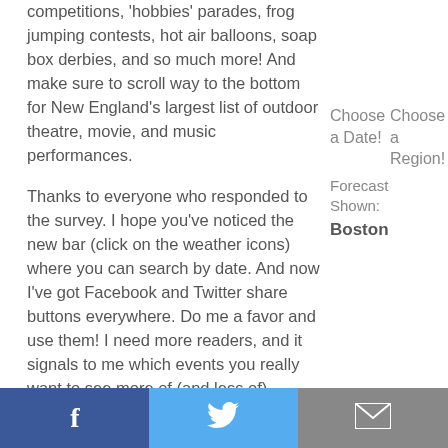competitions, 'hobbies' parades, frog jumping contests, hot air balloons, soap box derbies, and so much more! And make sure to scroll way to the bottom for New England's largest list of outdoor theatre, movie, and music performances.
Choose a Date!
Choose a Region!
Forecast Shown:
Boston
Thanks to everyone who responded to the survey. I hope you've noticed the new bar (click on the weather icons) where you can search by date. And now I've got Facebook and Twitter share buttons everywhere. Do me a favor and use them! I need more readers, and it signals to me which events you really want to see more of (and less of).